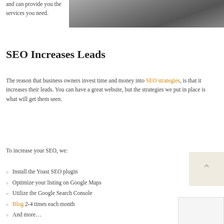and can provide you the services you need.
[Figure (photo): Outdoor photo, appears to show a road or path with stones/gravel]
SEO Increases Leads
The reason that business owners invest time and money into SEO strategies, is that it increases their leads. You can have a great website, but the strategies we put in place is what will get them seen.
To increase your SEO, we:
Install the Yoast SEO plugin
Optimize your listing on Google Maps
Utilize the Google Search Console
Blog 2-4 times each month
And more…